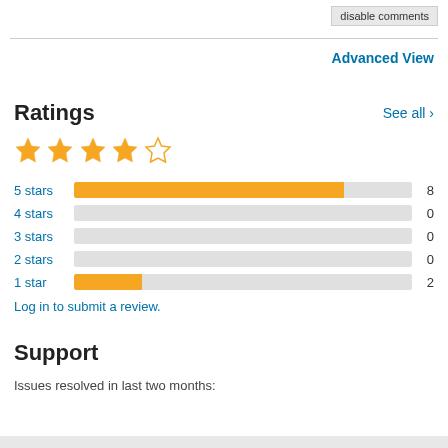disable comments
Advanced View
Ratings
[Figure (bar-chart): Ratings breakdown]
Log in to submit a review.
Support
Issues resolved in last two months: